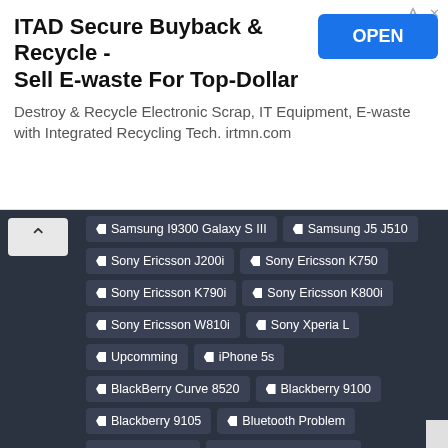[Figure (screenshot): Advertisement banner: ITAD Secure Buyback & Recycle - Sell E-waste For Top-Dollar with OPEN button]
Samsung I9300 Galaxy S III
Samsung J5 J510
Sony Ericsson J200i
Sony Ericsson K750
Sony Ericsson K790i
Sony Ericsson K800i
Sony Ericsson W810i
Sony Xperia L
Upcomming
iPhone 5s
BlackBerry Curve 8520
Blackberry 9100
Blackberry 9105
Bluetooth Problem
CoolPad 7060
Huawei Ascend G615
Huawei Ascend Y320
Huawei Ascend Y600
Huawei G520
LG G2 D802